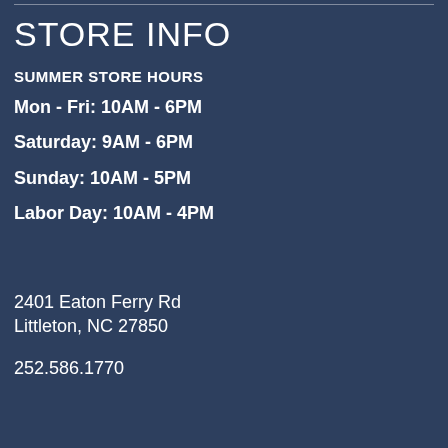STORE INFO
SUMMER STORE HOURS
Mon - Fri: 10AM - 6PM
Saturday: 9AM - 6PM
Sunday: 10AM - 5PM
Labor Day: 10AM - 4PM
2401 Eaton Ferry Rd
Littleton, NC 27850
252.586.1770